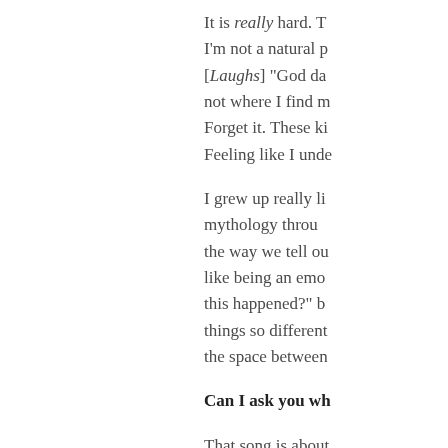It is really hard. T I'm not a natural p [Laughs] "God da not where I find m Forget it. These ki Feeling like I unde
I grew up really li mythology throu the way we tell ou like being an emo this happened?" b things so different the space between
Can I ask you wh
That song is about always struggled w do, but I'm never get, the more I'll f